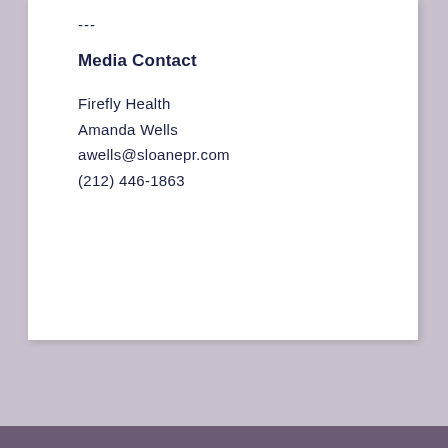---
Media Contact
Firefly Health
Amanda Wells
awells@sloanepr.com
(212) 446-1863